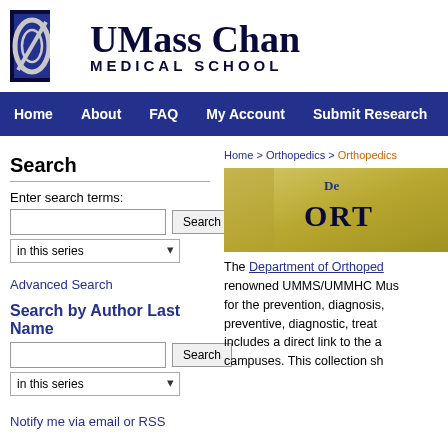[Figure (logo): UMass Chan Medical School logo with stylized U icon and bold serif text]
Home | About | FAQ | My Account | Submit Research
Home > Orthopedics > Orthopedics
Search
Enter search terms:
in this series
Advanced Search
Search by Author Last Name
in this series
Notify me via email or RSS
[Figure (illustration): Department of Orthopedics banner image with gold background and dark blue text showing 'De ORTH']
The Department of Orthoped... renowned UMMS/UMMHC Mus... for the prevention, diagnosis,... preventive, diagnostic, treat... includes a direct link to the a... campuses. This collection sh...